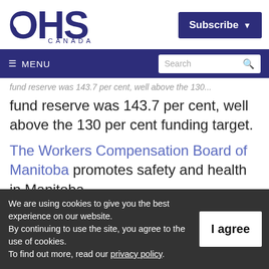[Figure (logo): OHS Canada logo — large dark blue letters OHS with CANADA beneath]
Subscribe ▾
≡ MENU   Search 🔍
fund reserve was 143.7 per cent, well above the 130 per cent funding target.
The Workers Compensation Board of Manitoba promotes safety and health in Manitoba...
We are using cookies to give you the best experience on our website. By continuing to use the site, you agree to the use of cookies. To find out more, read our privacy policy.
I agree